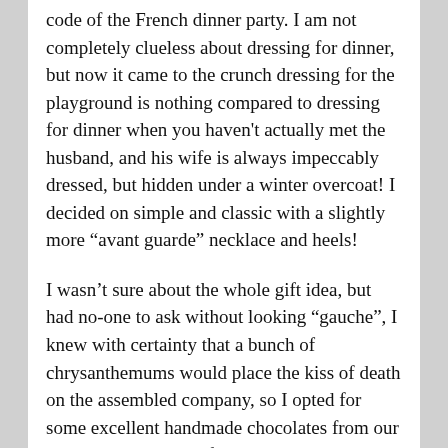code of the French dinner party. I am not completely clueless about dressing for dinner, but now it came to the crunch dressing for the playground is nothing compared to dressing for dinner when you haven't actually met the husband, and his wife is always impeccably dressed, but hidden under a winter overcoat! I decided on simple and classic with a slightly more “avant guarde” necklace and heels!
I wasn’t sure about the whole gift idea, but had no-one to ask without looking “gauche”, I knew with certainty that a bunch of chrysanthemums would place the kiss of death on the assembled company, so I opted for some excellent handmade chocolates from our boulangerie, a rather fine Chablis, and my husband threw in a wild-card African red just to challenge to the dinner crowd! I might add that having grown up in Africa, his choice of bottle was not an uneducated one!